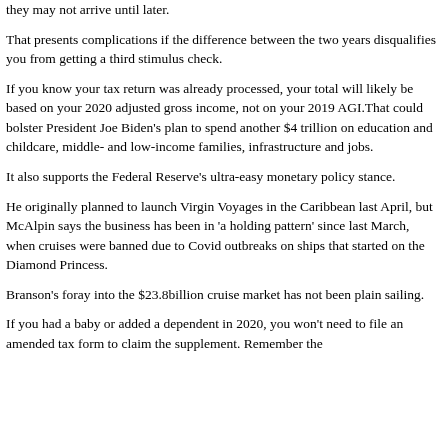they may not arrive until later.
That presents complications if the difference between the two years disqualifies you from getting a third stimulus check.
If you know your tax return was already processed, your total will likely be based on your 2020 adjusted gross income, not on your 2019 AGI.That could bolster President Joe Biden's plan to spend another $4 trillion on education and childcare, middle- and low-income families, infrastructure and jobs.
It also supports the Federal Reserve's ultra-easy monetary policy stance.
He originally planned to launch Virgin Voyages in the Caribbean last April, but McAlpin says the business has been in 'a holding pattern' since last March, when cruises were banned due to Covid outbreaks on ships that started on the Diamond Princess.
Branson's foray into the $23.8billion cruise market has not been plain sailing.
If you had a baby or added a dependent in 2020, you won't need to file an amended tax form to claim the supplement. Remember the